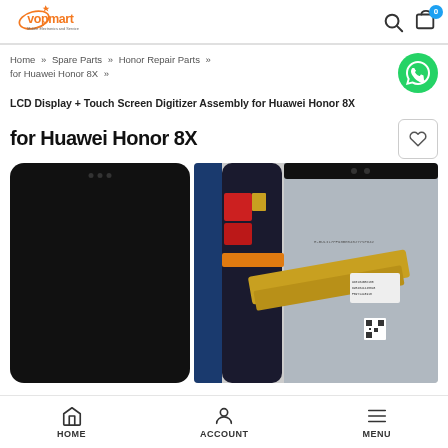vopmart — search and cart icons
Home » Spare Parts » Honor Repair Parts » for Huawei Honor 8X »
LCD Display + Touch Screen Digitizer Assembly for Huawei Honor 8X
for Huawei Honor 8X
[Figure (photo): Two Huawei Honor 8X screens: left one is a black screen front view, right one shows internal components with flex cable and circuit board]
HOME   ACCOUNT   MENU